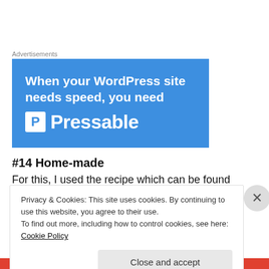[Figure (other): Advertisement banner for Pressable WordPress hosting. Blue background with white bold text: 'When your WordPress site needs speed, you need' and the Pressable logo with a P icon.]
#14 Home-made
For this, I used the recipe which can be found here.
Privacy & Cookies: This site uses cookies. By continuing to use this website, you agree to their use.
To find out more, including how to control cookies, see here: Cookie Policy